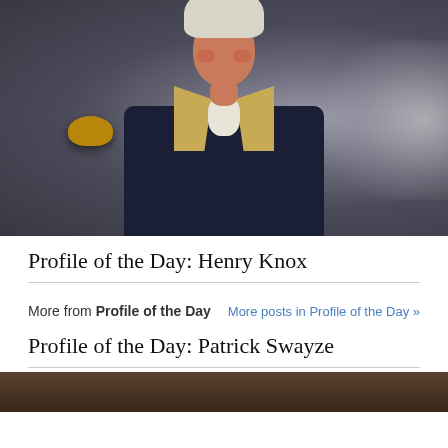[Figure (photo): Oil portrait painting of Henry Knox, an 18th century American general in dark navy military uniform with gold epaulettes and buff/yellow lapels, white powdered wig, rosy complexion, against a dark smoky grey background]
Profile of the Day: Henry Knox
More from Profile of the Day   More posts in Profile of the Day »
Profile of the Day: Patrick Swayze